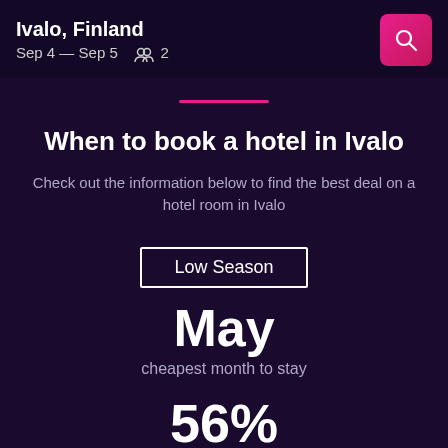Ivalo, Finland
Sep 4 — Sep 5  2
When to book a hotel in Ivalo
Check out the information below to find the best deal on a hotel room in Ivalo
Low Season
May
cheapest month to stay
56%
expected price decrease